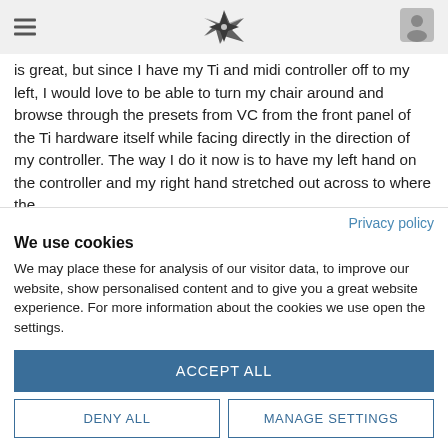[Navigation header with hamburger menu, logo, and user icon]
is great, but since I have my Ti and midi controller off to my left, I would love to be able to turn my chair around and browse through the presets from VC from the front panel of the Ti hardware itself while facing directly in the direction of my controller. The way I do it now is to have my left hand on the controller and my right hand stretched out across to where the
Privacy policy
We use cookies
We may place these for analysis of our visitor data, to improve our website, show personalised content and to give you a great website experience. For more information about the cookies we use open the settings.
ACCEPT ALL
DENY ALL
MANAGE SETTINGS